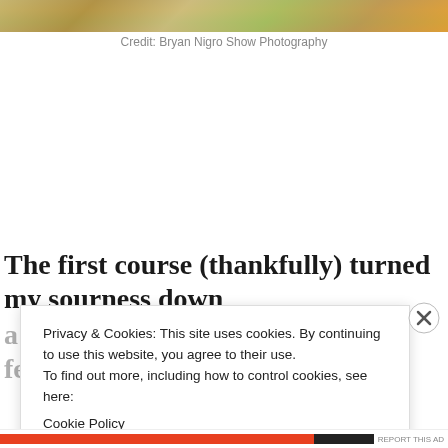[Figure (photo): Partial top strip of a photograph, showing outdoor scene with warm golden and green tones]
Credit: Bryan Nigro Show Photography
The first course (thankfully) turned my sourness down a few notches. We rode the first fence, a single
Privacy & Cookies: This site uses cookies. By continuing to use this website, you agree to their use.
To find out more, including how to control cookies, see here:
Cookie Policy
Close and accept